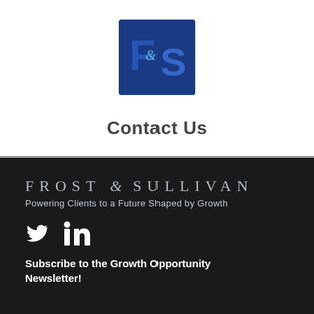[Figure (logo): Frost & Sullivan blue square logo with FS letters]
Contact Us
[Figure (logo): Frost & Sullivan text logo with tagline 'Powering Clients to a Future Shaped by Growth' and social media icons (Twitter, LinkedIn)]
Subscribe to the Growth Opportunity Newsletter!